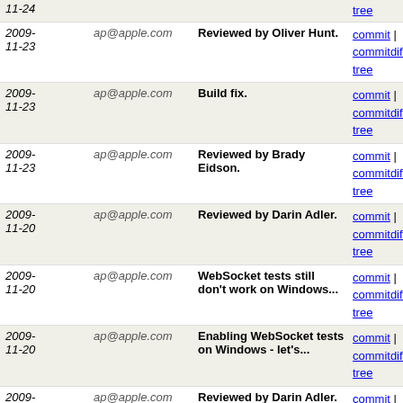| Date | Author | Message | Links |
| --- | --- | --- | --- |
| 2009-11-24 | ap@apple.com |  | tree |
| 2009-11-23 | ap@apple.com | Reviewed by Oliver Hunt. | commit | commitdiff | tree |
| 2009-11-23 | ap@apple.com | Build fix. | commit | commitdiff | tree |
| 2009-11-23 | ap@apple.com | Reviewed by Brady Eidson. | commit | commitdiff | tree |
| 2009-11-20 | ap@apple.com | Reviewed by Darin Adler. | commit | commitdiff | tree |
| 2009-11-20 | ap@apple.com | WebSocket tests still don't work on Windows... | commit | commitdiff | tree |
| 2009-11-20 | ap@apple.com | Enabling WebSocket tests on Windows - let's... | commit | commitdiff | tree |
| 2009-11-20 | ap@apple.com | Reviewed by Darin Adler. | commit | commitdiff | tree |
| 2009-11-19 | ap@apple.com | Trying to enable WebSocket tests on Tiger again... | commit | commitdiff | tree |
| 2009-11-19 | ap@apple.com | Reviewed by Darin Adler. | commit | commitdiff | tree |
| 2009-11-18 | ap@apple.com | Case sensitive file system build fix. | commit | commitdiff | tree |
| 2009-11-18 | ap@apple.com | Disabling WebSocket tests on Tiger back, they... | commit | commitdiff | tree |
| 2009-11-18 | ap@apple.com | Trying to enable WebSocket tests on Tiger again... | commit | commitdiff | tree |
| 2009-11-17 | ap@apple.com | Fix a typo in previous commit. | commit | commitdiff | tree |